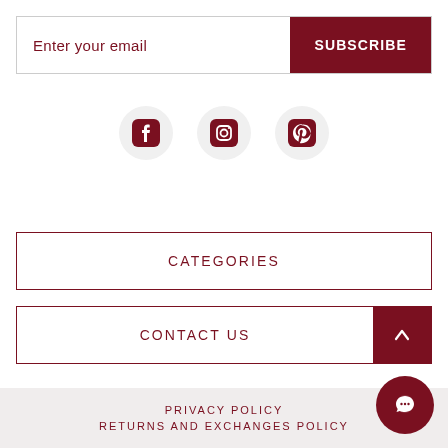Enter your email
SUBSCRIBE
[Figure (illustration): Facebook, Instagram, and Pinterest social media icons in dark red on light circular backgrounds]
CATEGORIES
CONTACT US
PRIVACY POLICY
RETURNS AND EXCHANGES POLICY